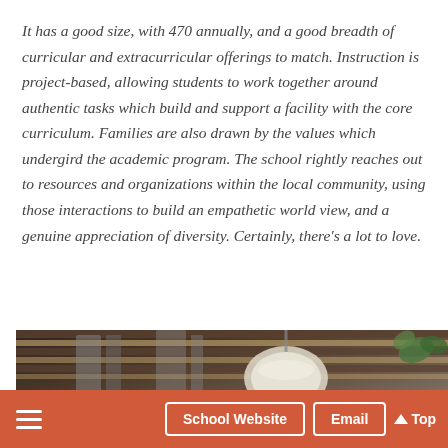It has a good size, with 470 annually, and a good breadth of curricular and extracurricular offerings to match. Instruction is project-based, allowing students to work together around authentic tasks which build and support a facility with the core curriculum. Families are also drawn by the values which undergird the academic program. The school rightly reaches out to resources and organizations within the local community, using those interactions to build an empathetic world view, and a genuine appreciation of diversity. Certainly, there's a lot to love.
[Figure (photo): Interior photo of a school building showing an industrial ceiling with exposed ductwork, wooden slat ceiling elements, a round pendant light fixture, and a plant visible in the upper right corner.]
School Website | Email | Top